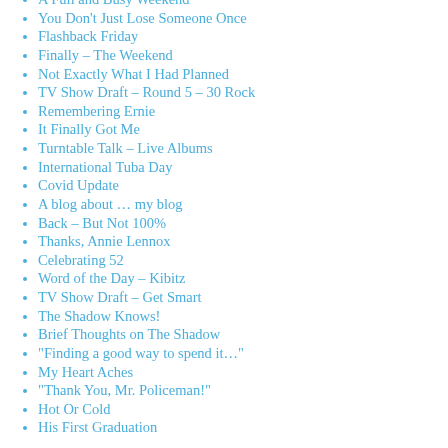A Full and Busy Weekend
You Don't Just Lose Someone Once
Flashback Friday
Finally – The Weekend
Not Exactly What I Had Planned
TV Show Draft – Round 5 – 30 Rock
Remembering Ernie
It Finally Got Me
Turntable Talk – Live Albums
International Tuba Day
Covid Update
A blog about … my blog
Back – But Not 100%
Thanks, Annie Lennox
Celebrating 52
Word of the Day – Kibitz
TV Show Draft – Get Smart
The Shadow Knows!
Brief Thoughts on The Shadow
“Finding a good way to spend it…”
My Heart Aches
“Thank You, Mr. Policeman!”
Hot Or Cold
His First Graduation